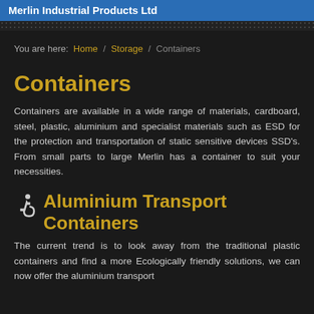Merlin Industrial Products Ltd
You are here: Home / Storage / Containers
Containers
Containers are available in a wide range of materials, cardboard, steel, plastic, aluminium and specialist materials such as ESD for the protection and transportation of static sensitive devices SSD's. From small parts to large Merlin has a container to suit your necessities.
Aluminium Transport Containers
The current trend is to look away from the traditional plastic containers and find a more Ecologically friendly solutions, we can now offer the aluminium transport